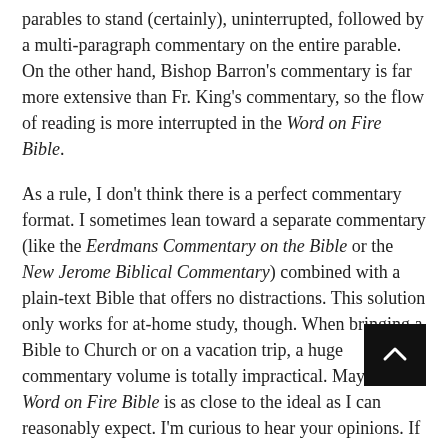parables to stand (certainly), uninterrupted, followed by a multi-paragraph commentary on the entire parable. On the other hand, Bishop Barron's commentary is far more extensive than Fr. King's commentary, so the flow of reading is more interrupted in the Word on Fire Bible.
As a rule, I don't think there is a perfect commentary format. I sometimes lean toward a separate commentary (like the Eerdmans Commentary on the Bible or the New Jerome Biblical Commentary) combined with a plain-text Bible that offers no distractions. This solution only works for at-home study, though. When bringing a Bible to Church or on a vacation trip, a huge commentary volume is totally impractical. Maybe the Word on Fire Bible is as close to the ideal as I can reasonably expect. I'm curious to hear your opinions. If you agree, should other Catholic publishers try interspersed commentary, rather than the traditional footnotes and endnotes?
Is single-author commentary a weakness or a strength?